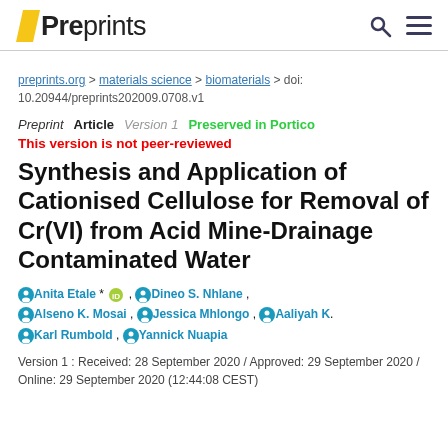Preprints
preprints.org > materials science > biomaterials > doi: 10.20944/preprints202009.0708.v1
Preprint  Article  Version 1  Preserved in Portico
This version is not peer-reviewed
Synthesis and Application of Cationised Cellulose for Removal of Cr(VI) from Acid Mine-Drainage Contaminated Water
Anita Etale * , Dineo S. Nhlane , Alseno K. Mosai , Jessica Mhlongo , Aaliyah K. , Karl Rumbold , Yannick Nuapia
Version 1 : Received: 28 September 2020 / Approved: 29 September 2020 / Online: 29 September 2020 (12:44:08 CEST)